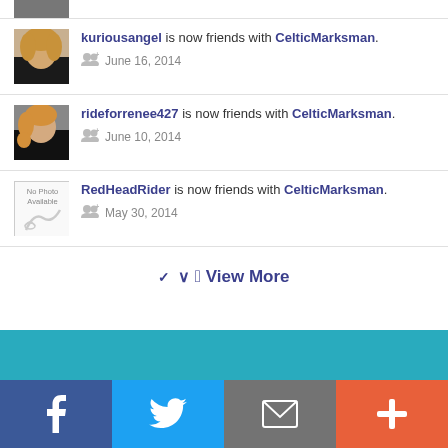kuriousangel is now friends with CelticMarksman. June 16, 2014
rideforrenee427 is now friends with CelticMarksman. June 10, 2014
RedHeadRider is now friends with CelticMarksman. May 30, 2014
View More
[Figure (other): Teal/cyan colored section block]
[Figure (other): Bottom navigation bar with Facebook, Twitter, Mail, and Plus icons]